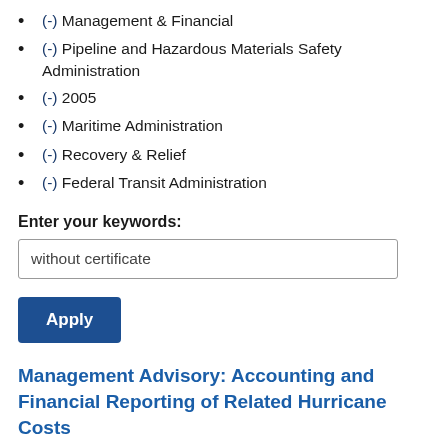(-) Management & Financial
(-) Pipeline and Hazardous Materials Safety Administration
(-) 2005
(-) Maritime Administration
(-) Recovery & Relief
(-) Federal Transit Administration
Enter your keywords:
without certificate
Apply
Management Advisory: Accounting and Financial Reporting of Related Hurricane Costs
We issued a management advisory to the Department